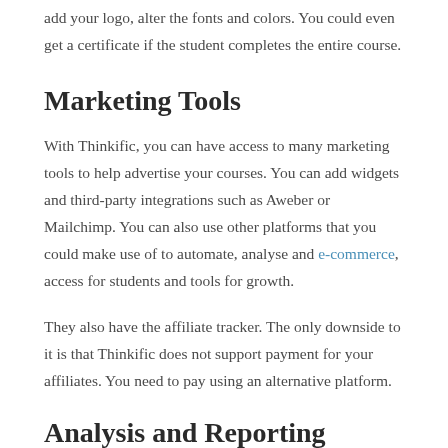add your logo, alter the fonts and colors. You could even get a certificate if the student completes the entire course.
Marketing Tools
With Thinkific, you can have access to many marketing tools to help advertise your courses. You can add widgets and third-party integrations such as Aweber or Mailchimp. You can also use other platforms that you could make use of to automate, analyse and e-commerce, access for students and tools for growth.
They also have the affiliate tracker. The only downside to it is that Thinkific does not support payment for your affiliates. You need to pay using an alternative platform.
Analysis and Reporting
Learning about the class can aid in improving it so that your students can benefit from it. It can help you monitor the level of